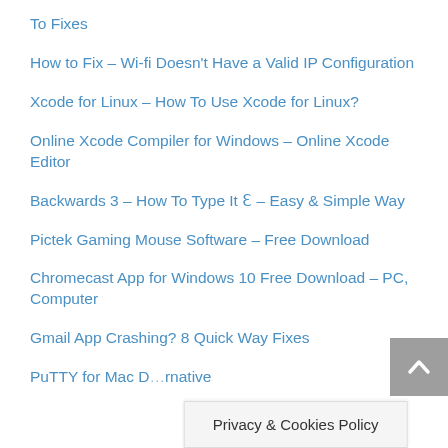To Fixes
How to Fix – Wi-fi Doesn't Have a Valid IP Configuration
Xcode for Linux – How To Use Xcode for Linux?
Online Xcode Compiler for Windows – Online Xcode Editor
Backwards 3 – How To Type It Ɛ – Easy & Simple Way
Pictek Gaming Mouse Software – Free Download
Chromecast App for Windows 10 Free Download – PC, Computer
Gmail App Crashing? 8 Quick Way Fixes
PuTTY for Mac D…rnative
Privacy & Cookies Policy